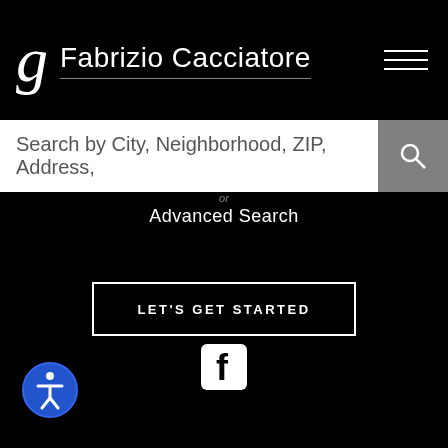Fabrizio Cacciatore
Search by City, Neighborhood, ZIP, Address,
Advanced Search
LET'S GET STARTED
[Figure (logo): Facebook logo icon (white F on black square with rounded corners)]
[Figure (illustration): Blue accessibility/wheelchair icon circle button in bottom left corner]